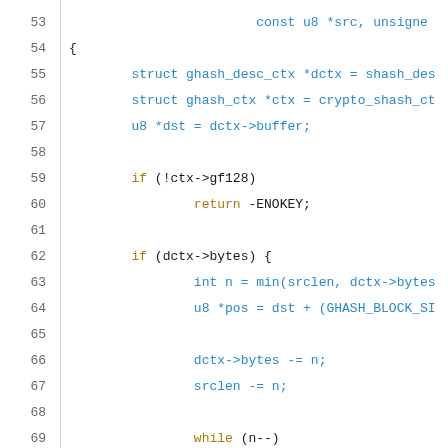[Figure (screenshot): Source code listing showing lines 53-74 of a C function implementing GHASH update logic. Lines include struct declarations, conditional checks for gf128 and bytes, a while loop with XOR operation, and a call to gf128mul_4k_lle.]